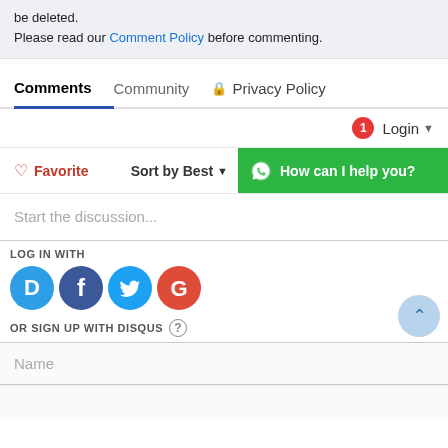be deleted. Please read our Comment Policy before commenting.
Comments  Community  Privacy Policy
1  Login
♡ Favorite   Sort by Best
[Figure (infographic): Green WhatsApp chat bar with WhatsApp icon and text: How can I help you?]
Start the discussion...
LOG IN WITH
[Figure (infographic): Four social login icons: Disqus (D, blue), Facebook (F, dark blue), Twitter (bird, light blue), Google (G, red)]
OR SIGN UP WITH DISQUS ?
Name